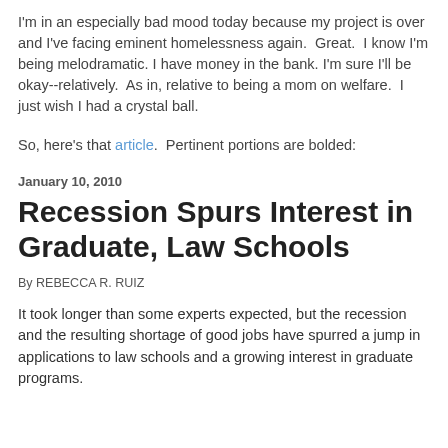I'm in an especially bad mood today because my project is over and I've facing eminent homelessness again.  Great.  I know I'm being melodramatic. I have money in the bank. I'm sure I'll be okay--relatively.  As in, relative to being a mom on welfare.  I just wish I had a crystal ball.
So, here's that article.  Pertinent portions are bolded:
January 10, 2010
Recession Spurs Interest in Graduate, Law Schools
By REBECCA R. RUIZ
It took longer than some experts expected, but the recession and the resulting shortage of good jobs have spurred a jump in applications to law schools and a growing interest in graduate programs.